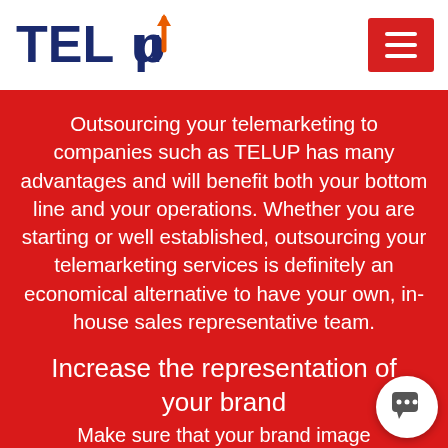TELUP
Outsourcing your telemarketing to companies such as TELUP has many advantages and will benefit both your bottom line and your operations. Whether you are starting or well established, outsourcing your telemarketing services is definitely an economical alternative to have your own, in-house sales representative team.
Increase the representation of your brand
Make sure that your brand image